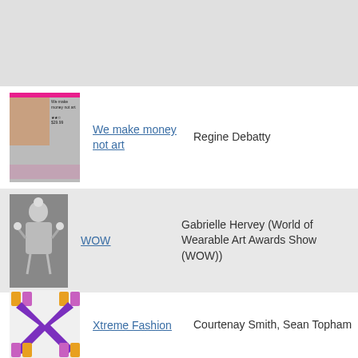| Image | Link | Author |
| --- | --- | --- |
| [thumbnail] | We make money not art | Regine Debatty |
| [thumbnail] | WOW | Gabrielle Hervey (World of Wearable Art Awards Show (WOW)) |
| [thumbnail] | Xtreme Fashion | Courtenay Smith, Sean Topham |